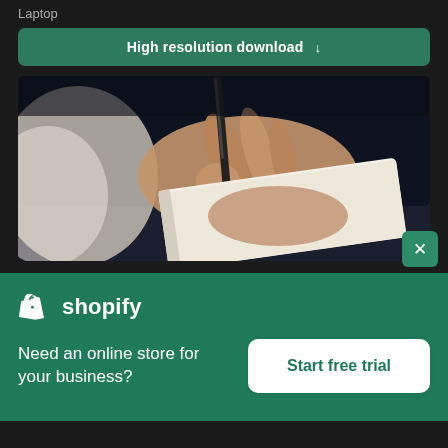Laptop
High resolution download ↓
[Figure (photo): Close-up photo of a person's hand holding a pen and writing in a notebook, dark background]
[Figure (logo): Shopify logo - white shopping bag icon with 'shopify' text in white]
Need an online store for your business?
Start free trial